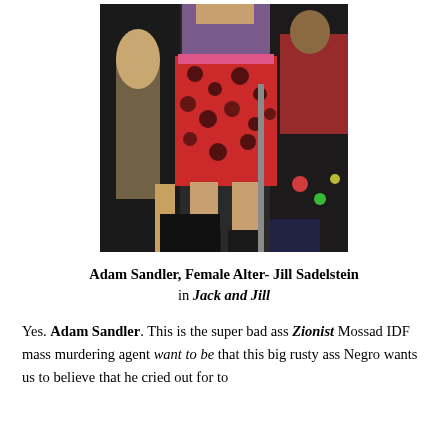[Figure (photo): A person wearing a red and black floral skirt and purple top, standing in a crowded indoor venue. Another person in black is visible on the left side.]
Adam Sandler, Female Alter- Jill Sadelstein in Jack and Jill
Yes. Adam Sandler. This is the super bad ass Zionist Mossad IDF mass murdering agent want to be that this big rusty ass Negro wants us to believe that he cried out for to